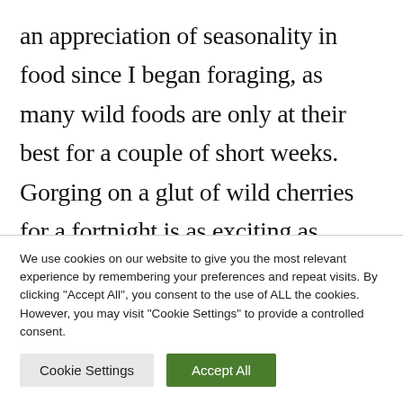an appreciation of seasonality in food since I began foraging, as many wild foods are only at their best for a couple of short weeks. Gorging on a glut of wild cherries for a fortnight is as exciting as Christmas for me! Even stinging nettles which are visible for most of the year
We use cookies on our website to give you the most relevant experience by remembering your preferences and repeat visits. By clicking "Accept All", you consent to the use of ALL the cookies. However, you may visit "Cookie Settings" to provide a controlled consent.
Cookie Settings
Accept All